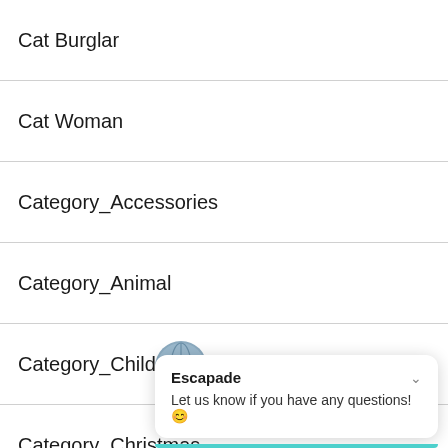Cat Burglar
Cat Woman
Category_Accessories
Category_Animal
Category_Children's
Category_Christmas
Category_Computer Games
Category_Dis[continued]
Category_[n continued]
Escapade — Let us know if you have any questions! 😊